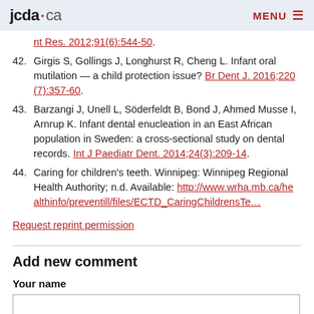jcda.ca | MENU
nt Res. 2012;91(6):544-50.
42. Girgis S, Gollings J, Longhurst R, Cheng L. Infant oral mutilation — a child protection issue? Br Dent J. 2016;220(7):357-60.
43. Barzangi J, Unell L, Söderfeldt B, Bond J, Ahmed Musse I, Arnrup K. Infant dental enucleation in an East African population in Sweden: a cross-sectional study on dental records. Int J Paediatr Dent. 2014;24(3):209-14.
44. Caring for children's teeth. Winnipeg: Winnipeg Regional Health Authority; n.d. Available: http://www.wrha.mb.ca/healthinfo/preventill/files/ECTD_CaringChildrensTe...
Request reprint permission
Add new comment
Your name